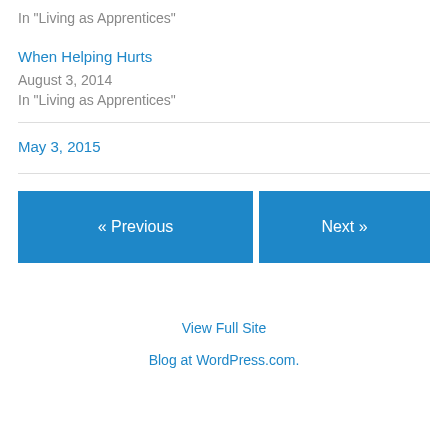In "Living as Apprentices"
When Helping Hurts
August 3, 2014
In "Living as Apprentices"
May 3, 2015
« Previous
Next »
View Full Site
Blog at WordPress.com.